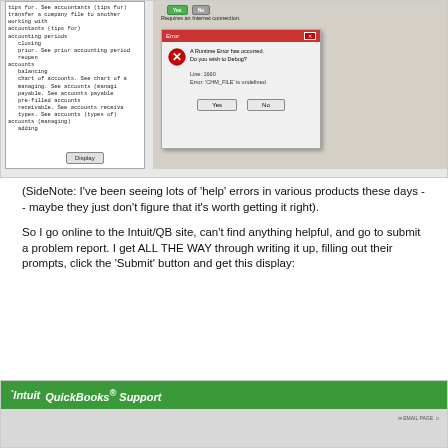[Figure (screenshot): Screenshot showing a QuickBooks help index panel on the left and an Internet Explorer Runtime Error dialog on the right. The error dialog reads: 'A Runtime Error has occurred. Do you wish to Debug? Line: 1660 Error: CHM_FILE is undefined' with Yes and No buttons.]
(SideNote: I've been seeing lots of 'help' errors in various products these days -- maybe they just don't figure that it's worth getting it right).
So I go online to the Intuit/QB site, can't find anything helpful, and go to submit a problem report. I get ALL THE WAY through writing it up, filling out their prompts, click the 'Submit' button and get this display:
[Figure (screenshot): Screenshot showing the Intuit QuickBooks Support page header with green banner and an EMAIL PAGE option visible.]